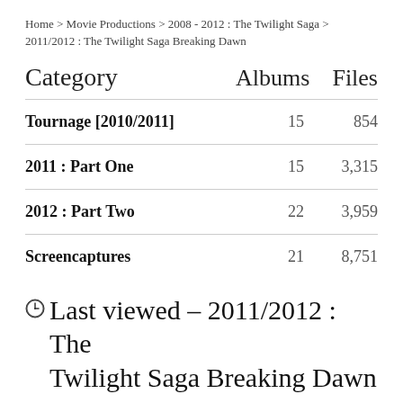Home > Movie Productions > 2008 - 2012 : The Twilight Saga > 2011/2012 : The Twilight Saga Breaking Dawn
| Category | Albums | Files |
| --- | --- | --- |
| Tournage [2010/2011] | 15 | 854 |
| 2011 : Part One | 15 | 3,315 |
| 2012 : Part Two | 22 | 3,959 |
| Screencaptures | 21 | 8,751 |
Last viewed - 2011/2012 : The Twilight Saga Breaking Dawn
[Figure (photo): Row of six thumbnail photos from The Twilight Saga Breaking Dawn]